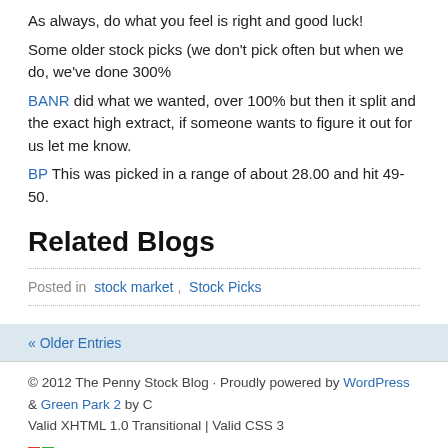As always, do what you feel is right and good luck!
Some older stock picks (we don't pick often but when we do, we've done 300%
BANR did what we wanted, over 100% but then it split and the exact high extract, if someone wants to figure it out for us let me know.
BP This was picked in a range of about 28.00 and hit 49-50.
Related Blogs
Posted in  stock market ,  Stock Picks
« Older Entries
© 2012 The Penny Stock Blog · Proudly powered by WordPress & Green Park 2 by C Valid XHTML 1.0 Transitional | Valid CSS 3
[Figure (logo): GreenPark 2 logo with colored squares icon]